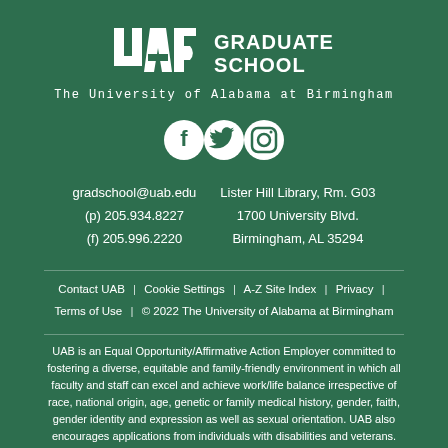[Figure (logo): UAB Graduate School logo with stylized UAB letters and 'GRADUATE SCHOOL' text, followed by 'The University of Alabama at Birmingham' subtitle]
[Figure (infographic): Three white social media icons: Facebook, Twitter/X, and Instagram]
gradschool@uab.edu
(p) 205.934.8227
(f) 205.996.2220
Lister Hill Library, Rm. G03
1700 University Blvd.
Birmingham, AL 35294
Contact UAB  |  Cookie Settings  |  A-Z Site Index  |  Privacy  |  Terms of Use  |  © 2022 The University of Alabama at Birmingham
UAB is an Equal Opportunity/Affirmative Action Employer committed to fostering a diverse, equitable and family-friendly environment in which all faculty and staff can excel and achieve work/life balance irrespective of race, national origin, age, genetic or family medical history, gender, faith, gender identity and expression as well as sexual orientation. UAB also encourages applications from individuals with disabilities and veterans.